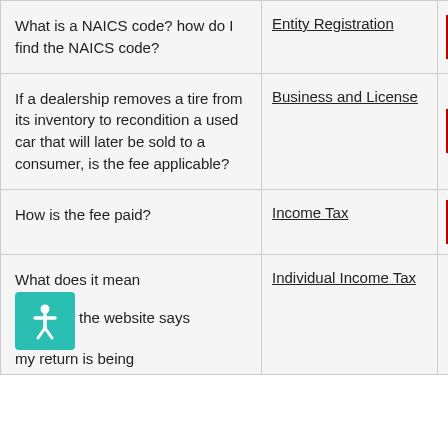| Question | Category | Action |
| --- | --- | --- |
| What is a NAICS code? how do I find the NAICS code? | Entity Registration | View |
| If a dealership removes a tire from its inventory to recondition a used car that will later be sold to a consumer, is the fee applicable? | Business and License | View |
| How is the fee paid? | Income Tax | View |
| What does it mean when the website says my return is being | Individual Income Tax | View |